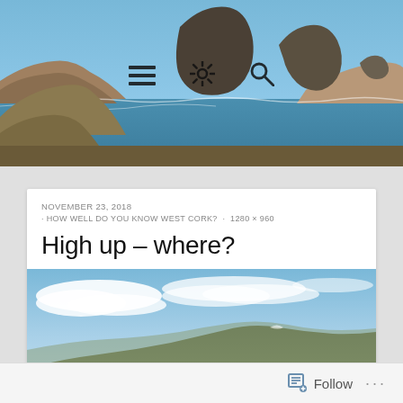[Figure (photo): Header photograph of rocky sea stacks and ocean coastline with blue water, viewed from a hillside. Three icons overlaid: hamburger menu, gear/settings, and magnifying glass search icon.]
NOVEMBER 23, 2018
· HOW WELL DO YOU KNOW WEST CORK? · 1280 × 960
High up – where?
[Figure (photo): Landscape photograph showing green-brown mountain hills under a blue sky with white clouds. The mountain ridge sweeps from lower left to upper right.]
Follow ···